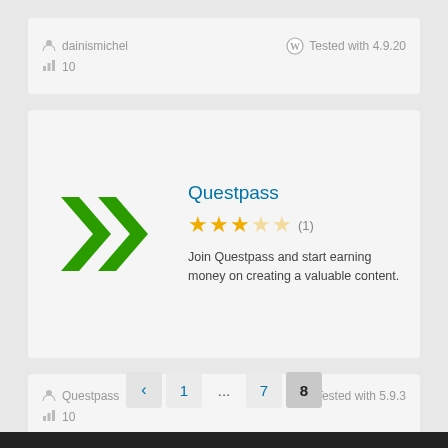dainismichel | 10 | Tested with 4.9.20
[Figure (logo): Questpass plugin logo — two green double right-pointing chevrons (>>) on a light grey background]
Questpass
3 out of 5 stars (1)
Join Questpass and start earning money on creating a valuable content.
Questpass | 10 | Tested with 5.9.3
< 1 ... 7 8